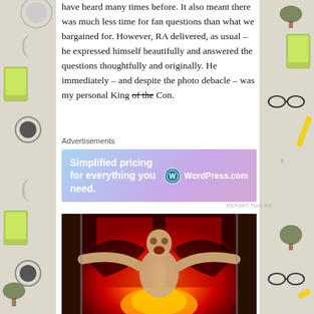have heard many times before. It also meant there was much less time for fan questions than what we bargained for. However, RA delivered, as usual – he expressed himself beautifully and answered the questions thoughtfully and originally. He immediately – and despite the photo debacle – was my personal King of the Con.
Advertisements
[Figure (screenshot): WordPress.com advertisement banner: 'Simplified pricing for everything you need.' with WordPress logo]
REPORT THIS AD
[Figure (photo): A man with arms outstretched in front of dramatic red fire/flame imagery, appearing to be a fantasy or sci-fi themed composite image]